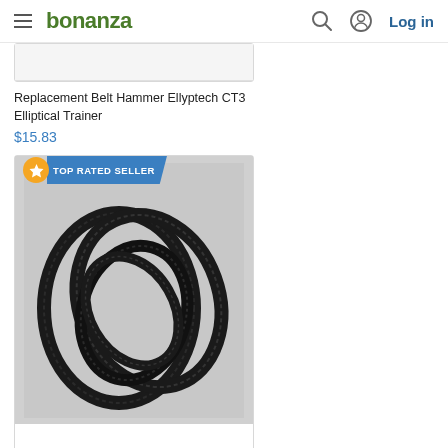bonanza  Log in
[Figure (photo): Partial product image of Replacement Belt Hammer Ellyptech CT3 Elliptical Trainer, top portion cut off]
Replacement Belt Hammer Ellyptech CT3 Elliptical Trainer
$15.83
[Figure (photo): Product listing card with TOP RATED SELLER badge showing 4 black toothed timing/drive belts coiled together on gray background for 4 After Market Delta/Rockwell Belts 1341594 28-150 BS100 SM400 Bandsaw]
4 After Market Delta/Rockwell Belts 1341594 28-150 BS100 SM400 Bandsaw 1...